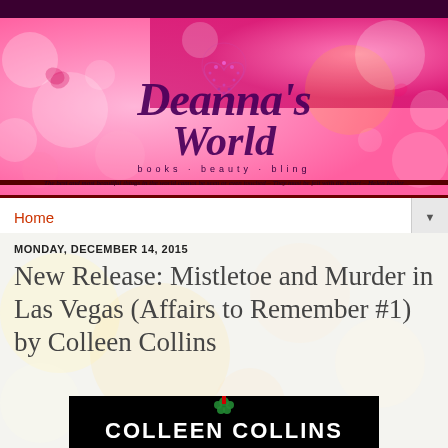[Figure (illustration): Deanna's World blog header banner with pink bokeh background, heart shape made of gemstones, cursive purple logo text reading Deanna's World, subtitle 'books beauty bling', and a quote by Helen Keller at the bottom]
Home
MONDAY, DECEMBER 14, 2015
New Release: Mistletoe and Murder in Las Vegas (Affairs to Remember #1) by Colleen Collins
[Figure (photo): Book cover for Mistletoe and Murder in Las Vegas by Colleen Collins - black background with author name COLLEEN COLLINS in white block letters, mistletoe with red ribbon at top]